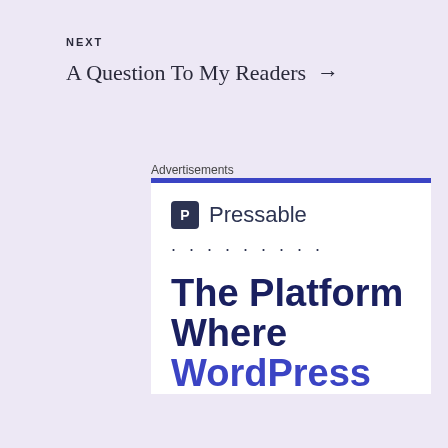NEXT
A Question To My Readers →
Advertisements
[Figure (screenshot): Pressable advertisement banner with logo, dots decorative element, and headline text 'The Platform Where WordPress' in dark navy and blue colors on white background with blue top border.]